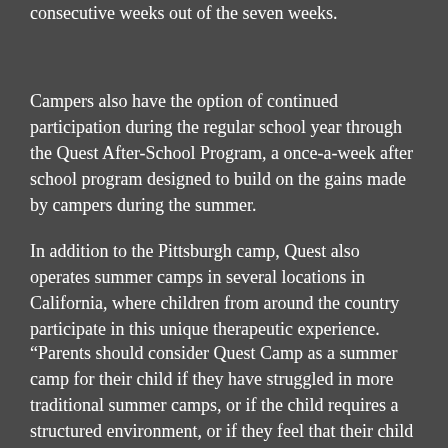consecutive weeks out of the seven weeks.
Campers also have the option of continued participation during the regular school year through the Quest After-School Program, a once-a-week after school program designed to build on the gains made by campers during the summer.
In addition to the Pittsburgh camp, Quest also operates summer camps in several locations in California, where children from around the country participate in this unique therapeutic experience.
“Parents should consider Quest Camp as a summer camp for their child if they have struggled in more traditional summer camps, or if the child requires a structured environment, or if they feel that their child is lagging behind their peers socially and/or emotionally” April said. “This is a program where kids who are on the social fringes at school and the community finally experience an environment which